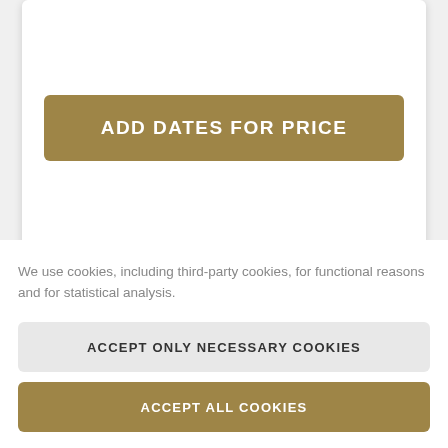[Figure (screenshot): White card with gold 'ADD DATES FOR PRICE' button and phone number link]
ADD DATES FOR PRICE
Or call us at: +33 9 67 23 16 26
We use cookies, including third-party cookies, for functional reasons and for statistical analysis.
ACCEPT ONLY NECESSARY COOKIES
ACCEPT ALL COOKIES